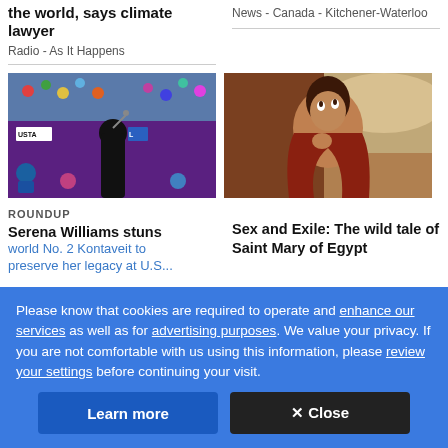the world, says climate lawyer
Radio - As It Happens
News - Canada - Kitchener-Waterloo
[Figure (photo): Serena Williams in black dress at USTA tennis venue, crowd in background]
[Figure (photo): Painting of Saint Mary of Egypt, partially draped figure looking upward]
ROUNDUP
Serena Williams stuns world No. 2 Kontaveit to preserve her legacy at US...
Sex and Exile: The wild tale of Saint Mary of Egypt
Please know that cookies are required to operate and enhance our services as well as for advertising purposes. We value your privacy. If you are not comfortable with us using this information, please review your settings before continuing your visit.
Learn more
✕ Close